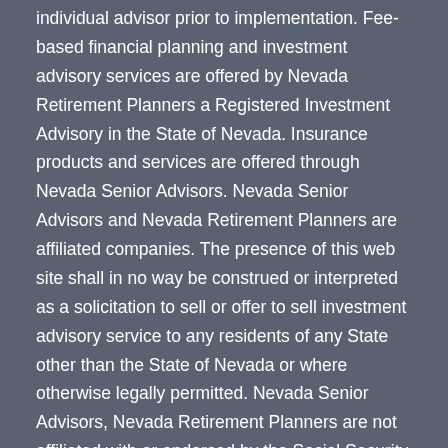individual advisor prior to implementation. Fee-based financial planning and investment advisory services are offered by Nevada Retirement Planners a Registered Investment Advisory in the State of Nevada. Insurance products and services are offered through Nevada Senior Advisors. Nevada Senior Advisors and Nevada Retirement Planners are affiliated companies. The presence of this web site shall in no way be construed or interpreted as a solicitation to sell or offer to sell investment advisory service to any residents of any State other than the State of Nevada or where otherwise legally permitted. Nevada Senior Advisors, Nevada Retirement Planners are not affiliated with or endorsed by the Social Security Administration or any government agency. This content is for informational purposes only and should not be used to make any financial decisions. Exclusive rights to this material belong to Nevada Senior Advisors. Unauthorized use of the material is prohibited.